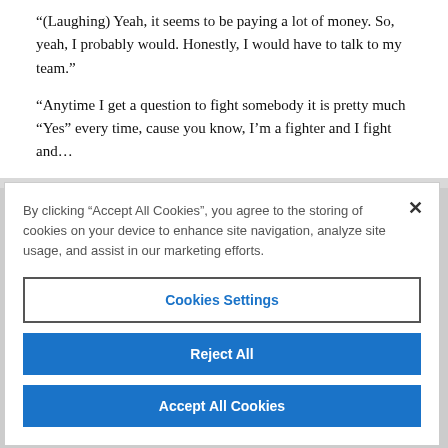“(Laughing) Yeah, it seems to be paying a lot of money. So, yeah, I probably would. Honestly, I would have to talk to my team.”
“Anytime I get a question to fight somebody it is pretty much “Yes” every time, cause you know, I’m a fighter and I fight and…”
By clicking “Accept All Cookies”, you agree to the storing of cookies on your device to enhance site navigation, analyze site usage, and assist in our marketing efforts.
Cookies Settings
Reject All
Accept All Cookies